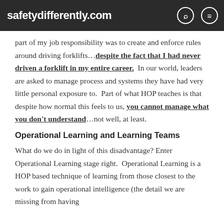safetydifferently.com
part of my job responsibility was to create and enforce rules around driving forklifts…despite the fact that I had never driven a forklift in my entire career.  In our world, leaders are asked to manage process and systems they have had very little personal exposure to.  Part of what HOP teaches is that despite how normal this feels to us, you cannot manage what you don't understand…not well, at least.
Operational Learning and Learning Teams
What do we do in light of this disadvantage? Enter Operational Learning stage right.  Operational Learning is a HOP based technique of learning from those closest to the work to gain operational intelligence (the detail we are missing from having